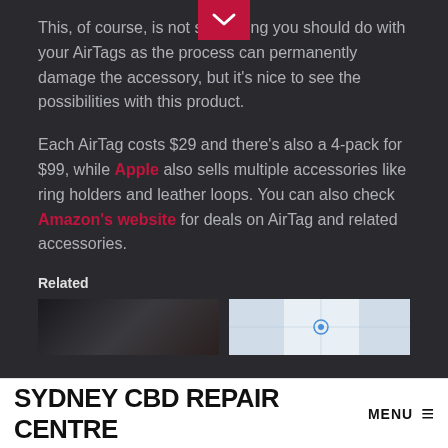[Figure (other): Dark red chevron/down-arrow button at top center of dark background section]
This, of course, is not something you should do with your AirTags as the process can permanently damage the accessory, but it's nice to see the possibilities with this product.
Each AirTag costs $29 and there's also a 4-pack for $99, while Apple also sells multiple accessories like ring holders and leather loops. You can also check Amazon's website for deals on AirTag and related accessories.
Related
[Figure (photo): Two partial thumbnail images in a row: a dark photograph on the left and a light map/app screenshot on the right]
SYDNEY CBD REPAIR CENTRE  MENU ≡